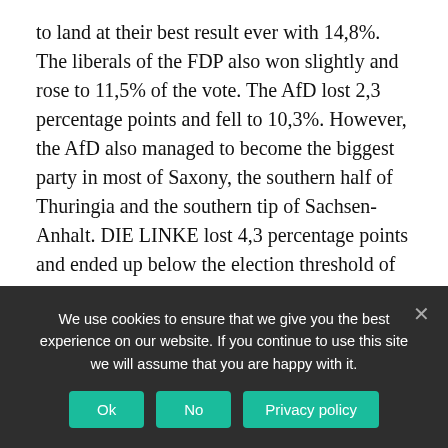to land at their best result ever with 14,8%. The liberals of the FDP also won slightly and rose to 11,5% of the vote. The AfD lost 2,3 percentage points and fell to 10,3%. However, the AfD also managed to become the biggest party in most of Saxony, the southern half of Thuringia and the southern tip of Sachsen-Anhalt. DIE LINKE lost 4,3 percentage points and ended up below the election threshold of 5,0%, only returning to the Bundestag thanks to three direct mandates in Berlin and Leipzig.
The Centre Left
We use cookies to ensure that we give you the best experience on our website. If you continue to use this site we will assume that you are happy with it.